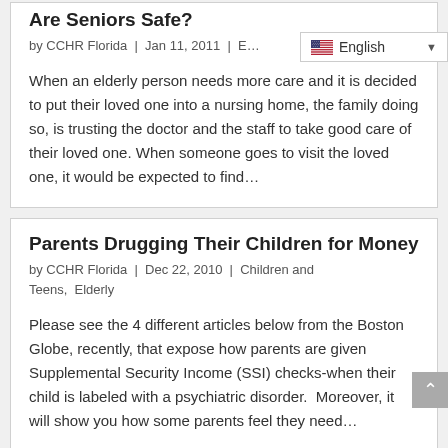Are Seniors Safe?
by CCHR Florida | Jan 11, 2011 | E…
When an elderly person needs more care and it is decided to put their loved one into a nursing home, the family doing so, is trusting the doctor and the staff to take good care of their loved one. When someone goes to visit the loved one, it would be expected to find…
Parents Drugging Their Children for Money
by CCHR Florida | Dec 22, 2010 | Children and Teens, Elderly
Please see the 4 different articles below from the Boston Globe, recently, that expose how parents are given Supplemental Security Income (SSI) checks-when their child is labeled with a psychiatric disorder.  Moreover, it will show you how some parents feel they need…